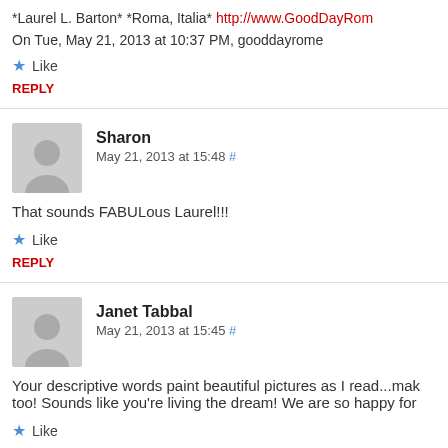*Laurel L. Barton* *Roma, Italia* http://www.GoodDayRom...
On Tue, May 21, 2013 at 10:37 PM, gooddayrome
★ Like
REPLY
Sharon
May 21, 2013 at 15:48 #
That sounds FABULous Laurel!!!
★ Like
REPLY
Janet Tabbal
May 21, 2013 at 15:45 #
Your descriptive words paint beautiful pictures as I read...mak too! Sounds like you're living the dream! We are so happy for
★ Like